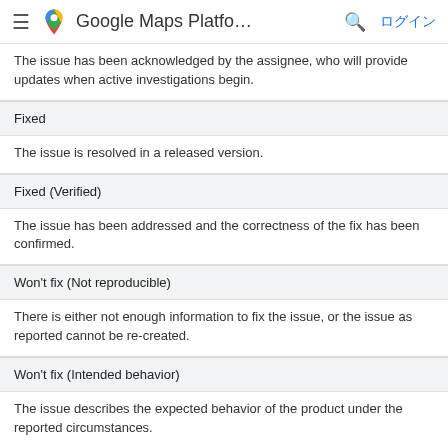Google Maps Platfo... ログイン
The issue has been acknowledged by the assignee, who will provide updates when active investigations begin.
Fixed
The issue is resolved in a released version.
Fixed (Verified)
The issue has been addressed and the correctness of the fix has been confirmed.
Won't fix (Not reproducible)
There is either not enough information to fix the issue, or the issue as reported cannot be re-created.
Won't fix (Intended behavior)
The issue describes the expected behavior of the product under the reported circumstances.
Won't fix (Obsolete)